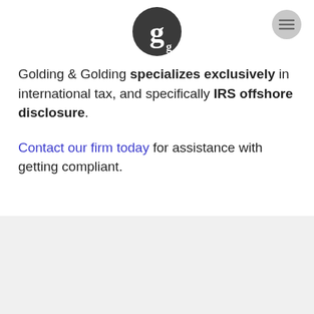[Figure (logo): Golding & Golding circular logo with stylized lowercase 'g' in dark gray/black]
[Figure (other): Hamburger/menu icon button in gray circle, top right]
Golding & Golding specializes exclusively in international tax, and specifically IRS offshore disclosure.
Contact our firm today for assistance with getting compliant.